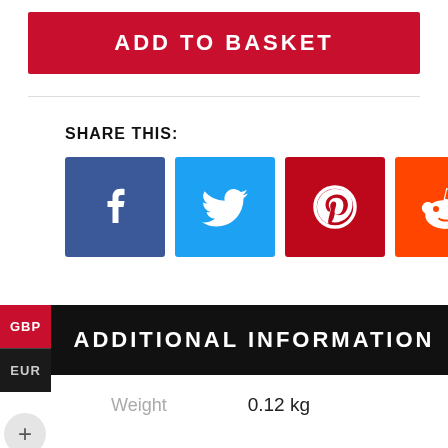ADD TO BASKET
SHARE THIS:
[Figure (other): Social media share icons: Facebook (blue), Twitter (light blue), Pinterest (dark red), Reddit (orange), WhatsApp (green)]
ADDITIONAL INFORMATION
| Weight | 0.12 kg |
| --- | --- |